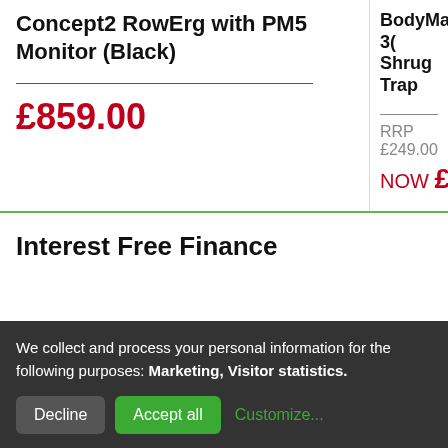Concept2 RowErg with PM5 Monitor (Black)
£859.00
BodyMax 30 Shrug Trap
RRP £249.00
NOW £10...
Interest Free Finance
We collect and process your personal information for the following purposes: Marketing, Visitor statistics.
Decline
Accept all
Customize...